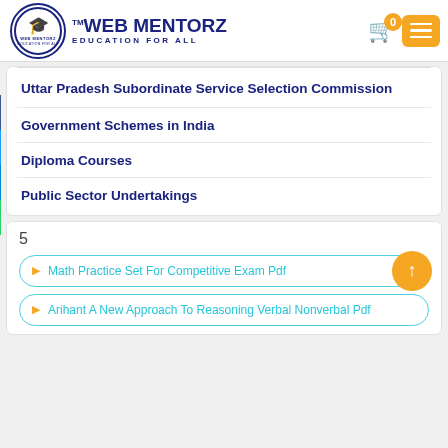[Figure (logo): Web Mentorz logo with graduation cap and text 'WEB MENTORZ EDUCATION FOR ALL']
Uttar Pradesh Subordinate Service Selection Commission
Government Schemes in India
Diploma Courses
Public Sector Undertakings
5
Math Practice Set For Competitive Exam Pdf
Arihant A New Approach To Reasoning Verbal Nonverbal Pdf